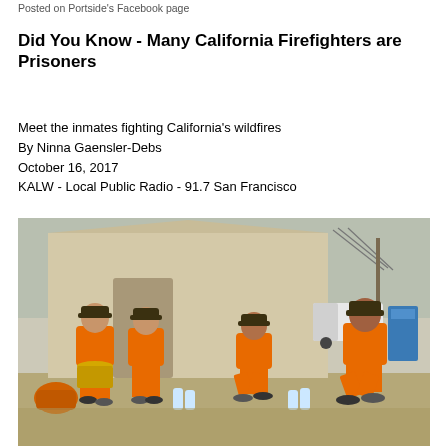Posted on Portside's Facebook page
Did You Know - Many California Firefighters are Prisoners
Meet the inmates fighting California's wildfires
By Ninna Gaensler-Debs
October 16, 2017
KALW - Local Public Radio - 91.7 San Francisco
[Figure (photo): Four inmates in orange jumpsuits and baseball caps sitting and crouching in front of a large tan canvas tent at a wildfire camp. A white van and portable toilet are visible in the background.]